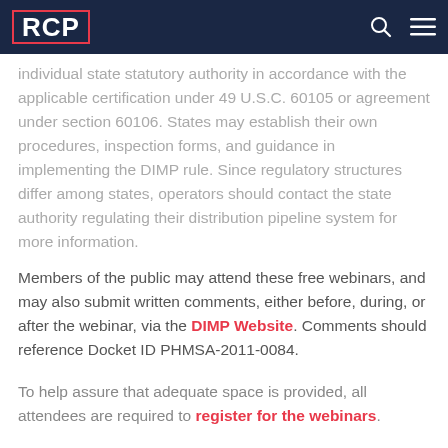RCP
individual state statutory authority in accordance with the applicable certification under 49 U.S.C. 60105 or agreement under section 60106. States may establish their own procedures, inspection forms, and guidance in implementing the DIMP rule. Since regulatory structures differ among states, operators should contact the state authority regulating their distribution pipeline system for more information.
Members of the public may attend these free webinars, and may also submit written comments, either before, during, or after the webinar, via the DIMP Website. Comments should reference Docket ID PHMSA-2011-0084.
To help assure that adequate space is provided, all attendees are required to register for the webinars.